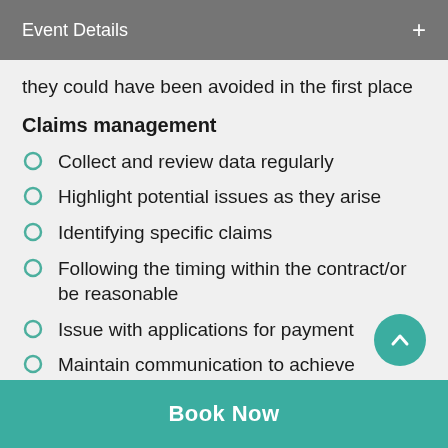Event Details
they could have been avoided in the first place
Claims management
Collect and review data regularly
Highlight potential issues as they arise
Identifying specific claims
Following the timing within the contract/or be reasonable
Issue with applications for payment
Maintain communication to achieve
Book Now